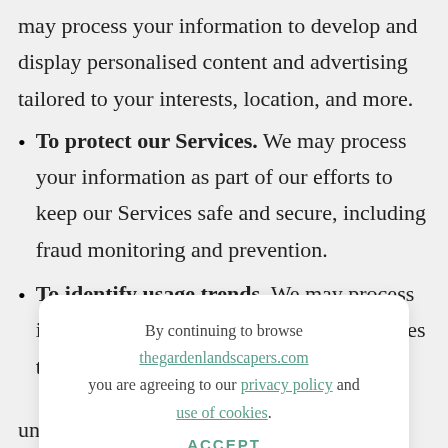may process your information to develop and display personalised content and advertising tailored to your interests, location, and more.
To protect our Services. We may process your information as part of our efforts to keep our Services safe and secure, including fraud monitoring and prevention.
To identify usage trends. We may process information about how you use our Services to
By continuing to browse thegardenlandscapers.com you are agreeing to our privacy policy and use of cookies. ACCEPT
understand how to provide marketing and